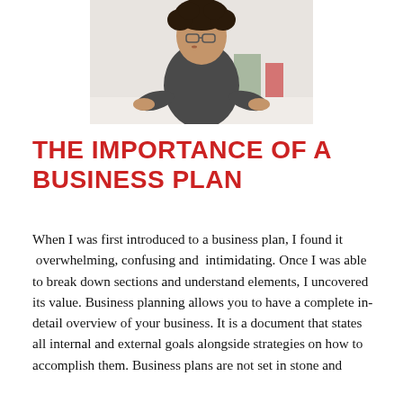[Figure (photo): A person with curly hair and glasses wearing a dark long-sleeve shirt, leaning over a white table in what appears to be a workshop or classroom setting.]
THE IMPORTANCE OF A BUSINESS PLAN
When I was first introduced to a business plan, I found it  overwhelming, confusing and  intimidating. Once I was able to break down sections and understand elements, I uncovered its value. Business planning allows you to have a complete in-detail overview of your business. It is a document that states all internal and external goals alongside strategies on how to accomplish them. Business plans are not set in stone and